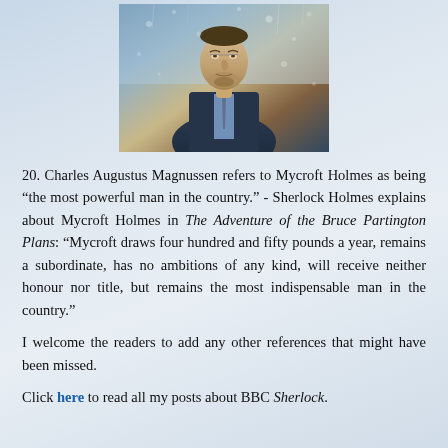[Figure (photo): A man in a dark suit and tie, photographed through a glass pane with water droplets, in cinematic style]
20. Charles Augustus Magnussen refers to Mycroft Holmes as being “the most powerful man in the country.” - Sherlock Holmes explains about Mycroft Holmes in The Adventure of the Bruce Partington Plans: “Mycroft draws four hundred and fifty pounds a year, remains a subordinate, has no ambitions of any kind, will receive neither honour nor title, but remains the most indispensable man in the country.”
I welcome the readers to add any other references that might have been missed.
Click here to read all my posts about BBC Sherlock.